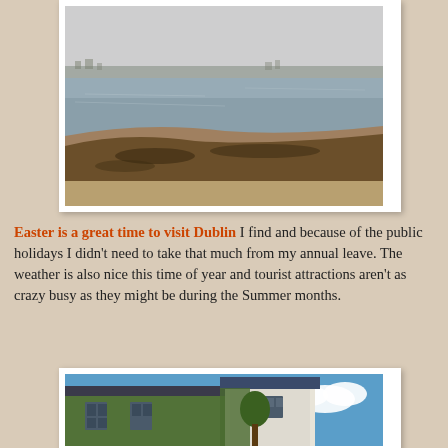[Figure (photo): A coastal beach scene showing a curved shoreline with pebbles and seaweed in the foreground, calm sea water, and buildings along the distant shore under a hazy sky.]
Easter is a great time to visit Dublin I find and because of the public holidays I didn't need to take that much from my annual leave. The weather is also nice this time of year and tourist attractions aren't as crazy busy as they might be during the Summer months.
[Figure (photo): A building covered in ivy/green climbing plants with windows visible, blue sky with white clouds in the background.]